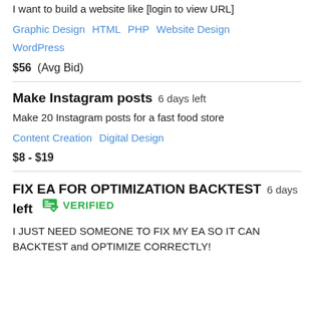I want to build a website like [login to view URL]
Graphic Design   HTML   PHP   Website Design   WordPress
$56  (Avg Bid)
Make Instagram posts  6 days left
Make 20 Instagram posts for a fast food store
Content Creation   Digital Design
$8 - $19
FIX EA FOR OPTIMIZATION BACKTEST  6 days left  VERIFIED
I JUST NEED SOMEONE TO FIX MY EA SO IT CAN BACKTEST and OPTIMIZE CORRECTLY!